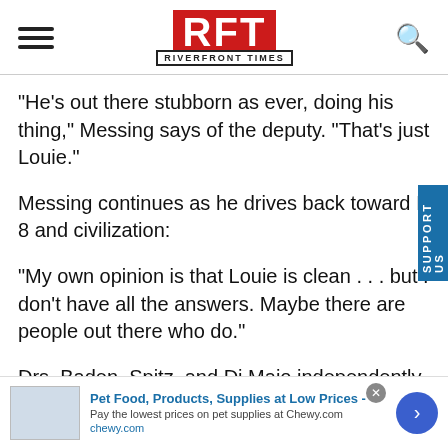RFT RIVERFRONT TIMES
"He's out there stubborn as ever, doing his thing," Messing says of the deputy. "That's just Louie."
Messing continues as he drives back toward I-8 and civilization:
"My own opinion is that Louie is clean . . . but I don't have all the answers. Maybe there are people out there who do."
Drs. Baden, Spitz, and Di Maio independently examined the photos taken of Puroll's gunshot wound before replying
[Figure (other): Advertisement banner: Pet Food, Products, Supplies at Low Prices - Chewy.com]